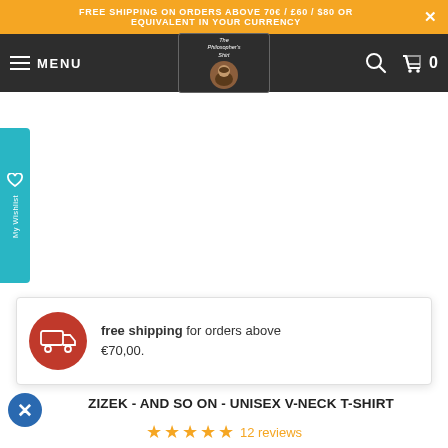FREE SHIPPING ON ORDERS ABOVE 70€ / £60 / $80 OR EQUIVALENT IN YOUR CURRENCY
[Figure (logo): The Philosopher's Shirt logo with navigation menu, search icon, and cart showing 0 items on dark background]
[Figure (infographic): My Wishlist vertical tab with heart icon on teal/cyan background on left side of page]
free shipping for orders above €70,00.
ZIZEK - AND SO ON - UNISEX V-NECK T-SHIRT
12 reviews
€29,95